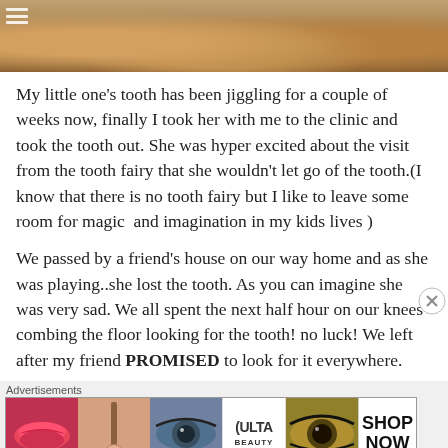[Figure (photo): Top portion of a food photo showing fried/breaded items, partially cropped, with a hamburger/menu icon in the top-left corner.]
My little one's tooth has been jiggling for a couple of weeks now, finally I took her with me to the clinic and took the tooth out. She was hyper excited about the visit from the tooth fairy that she wouldn't let go of the tooth.(I know that there is no tooth fairy but I like to leave some room for magic  and imagination in my kids lives )
We passed by a friend's house on our way home and as she was playing..she lost the tooth. As you can imagine she was very sad. We all spent the next half hour on our knees combing the floor looking for the tooth! no luck! We left after my friend PROMISED to look for it everywhere.
Advertisements
[Figure (photo): Advertisement banner for ULTA beauty with images of lips, makeup brush, eye, ULTA logo, smoky eye, and SHOP NOW call to action.]